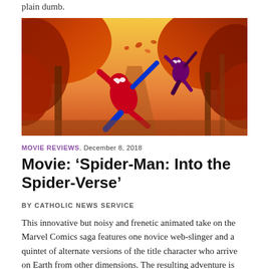plain dumb.
[Figure (illustration): Animated scene from Spider-Man: Into the Spider-Verse showing two Spider-Man characters swinging through an autumn forest with red and orange leaves and warm golden light]
MOVIE REVIEWS. DECEMBER 8, 2018
Movie: ‘Spider-Man: Into the Spider-Verse’
BY CATHOLIC NEWS SERVICE
This innovative but noisy and frenetic animated take on the Marvel Comics saga features one novice web-slinger and a quintet of alternate versions of the title character who arrive on Earth from other dimensions. The resulting adventure is not for the easily